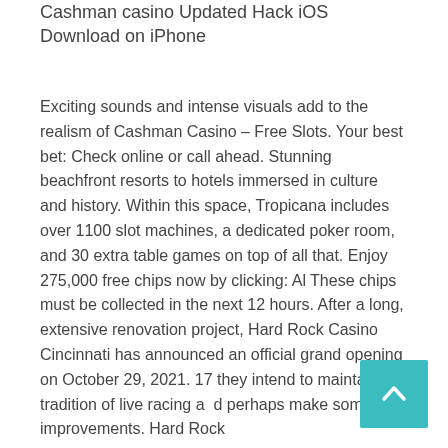Cashman casino Updated Hack iOS Download on iPhone
Exciting sounds and intense visuals add to the realism of Cashman Casino – Free Slots. Your best bet: Check online or call ahead. Stunning beachfront resorts to hotels immersed in culture and history. Within this space, Tropicana includes over 1100 slot machines, a dedicated poker room, and 30 extra table games on top of all that. Enjoy 275,000 free chips now by clicking: Al These chips must be collected in the next 12 hours. After a long, extensive renovation project, Hard Rock Casino Cincinnati has announced an official grand opening on October 29, 2021. 17 they intend to maintain the tradition of live racing and perhaps make some improvements. Hard Rock